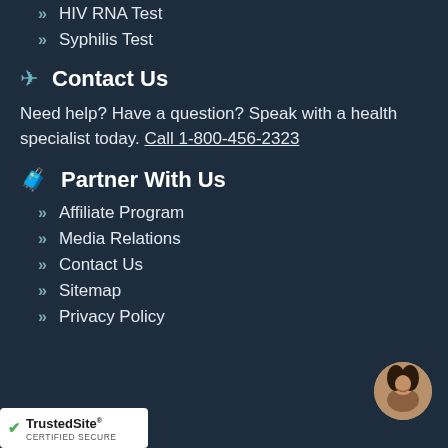HIV RNA Test
Syphilis Test
Contact Us
Need help? Have a question? Speak with a health specialist today. Call 1-800-456-2323
Partner With Us
Affiliate Program
Media Relations
Contact Us
Sitemap
Privacy Policy
[Figure (photo): Circular avatar photo of a smiling woman]
[Figure (logo): TrustedSite Certified Secure badge]